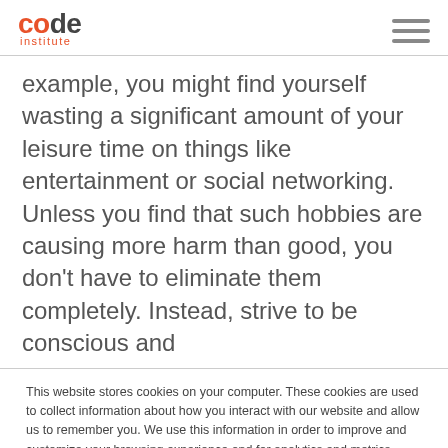code institute
example, you might find yourself wasting a significant amount of your leisure time on things like entertainment or social networking. Unless you find that such hobbies are causing more harm than good, you don't have to eliminate them completely. Instead, strive to be conscious and
This website stores cookies on your computer. These cookies are used to collect information about how you interact with our website and allow us to remember you. We use this information in order to improve and customize your browsing experience and for analytics and metrics about our visitors both on this website and other media. To find out more about the cookies we use, see our Privacy Policy.
Accept
Ignore